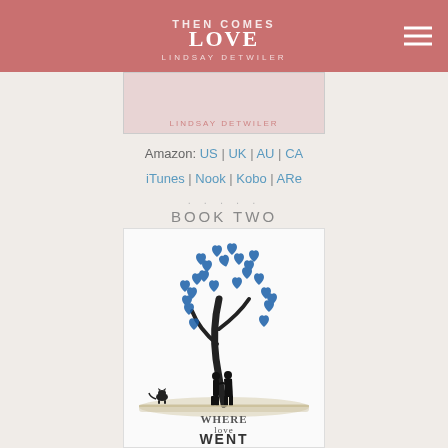THEN COMES LOVE | LINDSAY DETWILER
Amazon: US | UK | AU | CA
iTunes | Nook | Kobo | ARe
. . . . .
BOOK TWO
[Figure (illustration): Book cover for 'Where Love Went' by Lindsay Detwiler. Features a stylized tree with blue heart-shaped leaves, silhouettes of a couple kissing beneath the tree, a small black cat to the left, and a sandy/ground texture. Title text 'WHERE love WENT' at bottom with author name 'LINDSAY DETWILER' below.]